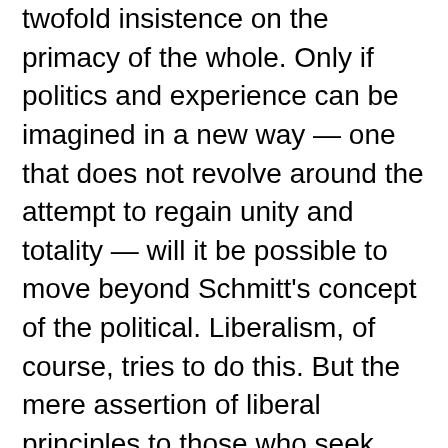twofold insistence on the primacy of the whole. Only if politics and experience can be imagined in a new way — one that does not revolve around the attempt to regain unity and totality — will it be possible to move beyond Schmitt's concept of the political. Liberalism, of course, tries to do this. But the mere assertion of liberal principles to those who seek something else from politics is clearly futile.(n68) Whether one finds Schmitt acceptable or not, it is undeniable that his concept of the political continues to apply today. If it is to be set aside, it should be done with a clear awareness of the needs